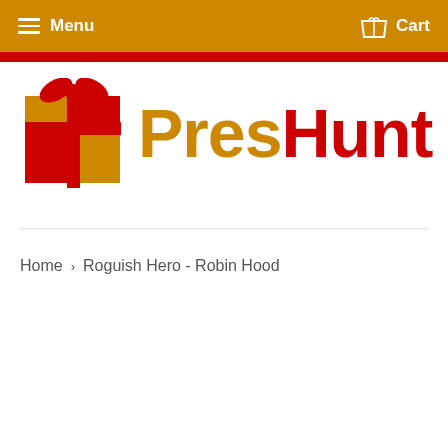Menu  Cart
[Figure (logo): PresHunt logo with gift box icon. The gift box is made of red and orange squares with a red bow on top. The text reads 'Pres' in orange and 'Hunt' in red, bold large font.]
Home › Roguish Hero - Robin Hood